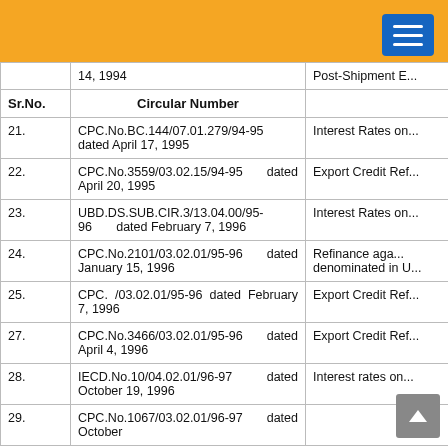| Sr.No. | Circular Number |  |
| --- | --- | --- |
|  | 14, 1994 | Post-Shipment E... |
| Sr.No. | Circular Number |  |
| 21. | CPC.No.BC.144/07.01.279/94-95 dated April 17, 1995 | Interest Rates on... |
| 22. | CPC.No.3559/03.02.15/94-95 dated April 20, 1995 | Export Credit Ref... |
| 23. | UBD.DS.SUB.CIR.3/13.04.00/95-96 dated February 7, 1996 | Interest Rates on... |
| 24. | CPC.No.2101/03.02.01/95-96 dated January 15, 1996 | Refinance aga... denominated in U... |
| 25. | CPC. /03.02.01/95-96 dated February 7, 1996 | Export Credit Ref... |
| 27. | CPC.No.3466/03.02.01/95-96 dated April 4, 1996 | Export Credit Ref... |
| 28. | IECD.No.10/04.02.01/96-97 dated October 19, 1996 | Interest rates on... |
| 29. | CPC.No.1067/03.02.01/96-97 dated October... |  |